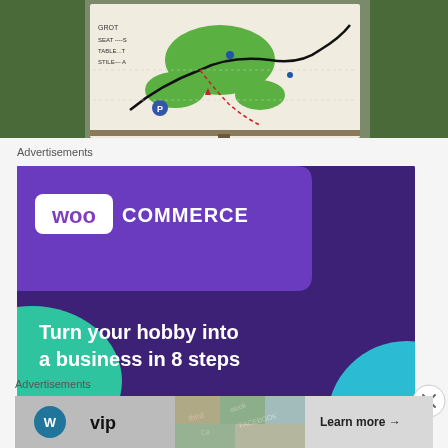[Figure (photo): Photo of a trail map sign showing a walking route map with paths, parking area marked P, green areas, and a legend showing SEAT, TABLE, STILE symbols. The sign is mounted on a wooden post surrounded by green foliage.]
Advertisements
[Figure (other): WooCommerce advertisement on dark purple background. Shows WooCommerce logo at top, teal triangle shape on left, blue circle on right, with text 'Turn your hobby into a business in 8 steps' and a white 'Start a new store' button.]
Advertisements
[Figure (other): WordPress VIP advertisement banner showing WordPress VIP logo on left, social media map imagery in center, and 'Learn more →' button on right.]